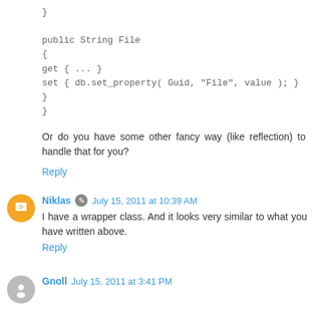}

public String File
{
get { ... }
set { db.set_property( Guid, "File", value ); }
}
}
Or do you have some other fancy way (like reflection) to handle that for you?
Reply
Niklas  July 15, 2011 at 10:39 AM
I have a wrapper class. And it looks very similar to what you have written above.
Reply
Gnoll  July 15, 2011 at 3:41 PM